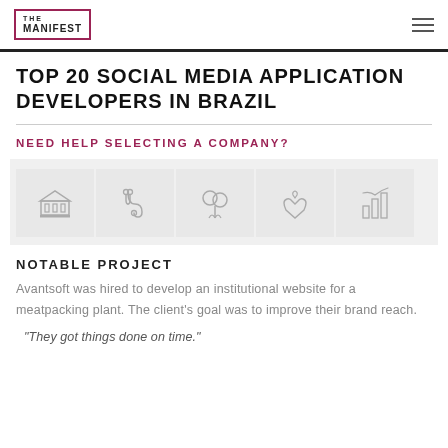THE MANIFEST
TOP 20 SOCIAL MEDIA APPLICATION DEVELOPERS IN BRAZIL
NEED HELP SELECTING A COMPANY?
[Figure (illustration): Five industry icons: government/bank building, stethoscope/healthcare, tree/environment, heart in hands/charity, bar chart/finance]
NOTABLE PROJECT
Avantsoft was hired to develop an institutional website for a meatpacking plant. The client's goal was to improve their brand reach.
"They got things done on time."